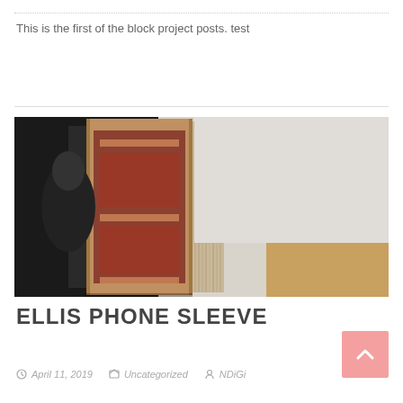This is the first of the block project posts. test
[Figure (photo): A book or artwork displayed on its side on a wall mount, showing layered pages or panels with reddish-brown tones, in what appears to be a gallery or studio space.]
ELLIS PHONE SLEEVE
April 11, 2019   Uncategorized   NDiGi